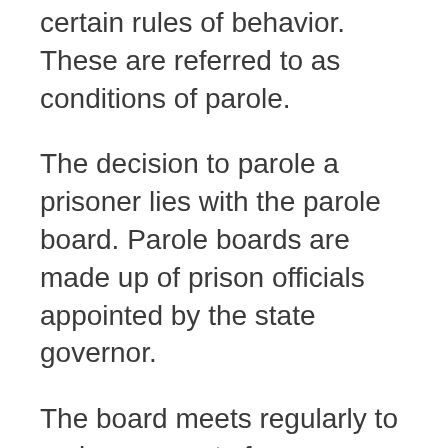certain rules of behavior. These are referred to as conditions of parole.
The decision to parole a prisoner lies with the parole board. Parole boards are made up of prison officials appointed by the state governor.
The board meets regularly to review requests from prisoners for parole. If the decision is negative, the prisoner may appeal. Appeals may be sent to the board, the governor, or a higher court.
For federal convictions, there is no parole as with state cases. Prisoners